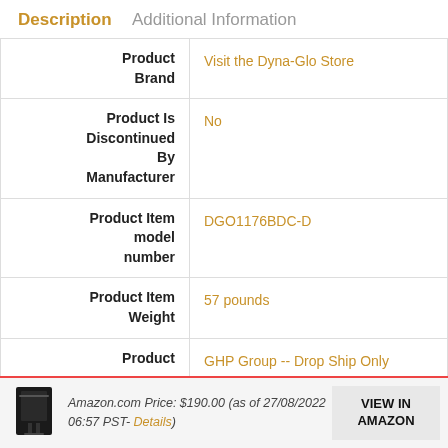Description   Additional Information
| Attribute | Value |
| --- | --- |
| Product Brand | Visit the Dyna-Glo Store |
| Product Is Discontinued By Manufacturer | No |
| Product Item model number | DGO1176BDC-D |
| Product Item Weight | 57 pounds |
| Product | GHP Group -- Drop Ship Only |
Amazon.com Price: $190.00 (as of 27/08/2022 06:57 PST- Details)
VIEW IN AMAZON